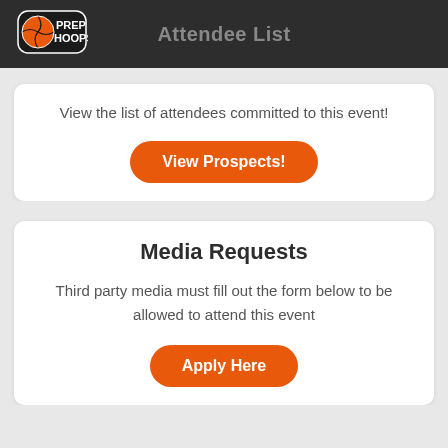Attendee List
View the list of attendees committed to this event!
View Prospects!
Media Requests
Third party media must fill out the form below to be allowed to attend this event
Apply Here